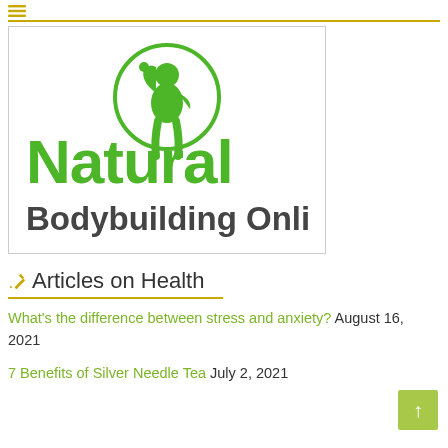[Figure (logo): Natural Bodybuilding Online logo with green muscular figure and green text 'Natural' above dark gray 'Bodybuilding Online']
Articles on Health
What's the difference between stress and anxiety? August 16, 2021
7 Benefits of Silver Needle Tea July 2, 2021